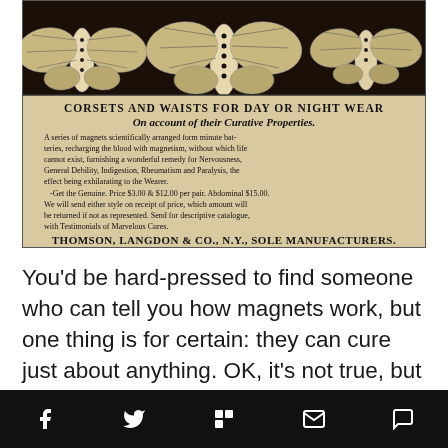[Figure (illustration): Vintage advertisement for Wilsonia Magnetic Corsets. Top portion shows moths or butterflies as decorative illustration on dark background. Below is advertisement text reading: CORSETS AND WAISTS FOR DAY OR NIGHT WEAR / On account of their Curative Properties. / A series of magnets scientifically arranged form minute batteries, recharging the blood with magnetism, without which life cannot exist, furnishing a wonderful remedy for Nervousness, General Debility, Indigestion, Rheumatism and Paralysis, the effect being exhilarating to the Wearer. / -Get the Genuine. Price $3.00 & $12.00 per pair. Abdominal $15.00. / We will send either style on receipt of price, which amount will be returned if not as represented. Send for descriptive catalogue, with Testimonials of Marvelous Cures. / THOMSON, LANGDON & CO., N.Y., SOLE MANUFACTURERS.]
You'd be hard-pressed to find someone who can tell you how magnets work, but one thing is for certain: they can cure just about anything. OK, it's not true, but no one mentioned that to Thomson, Langdon & Co., manufacturers of the Wilsonia Magnetic Corset, which
Social sharing icons: Facebook, Twitter, Flipboard, Email, Comment